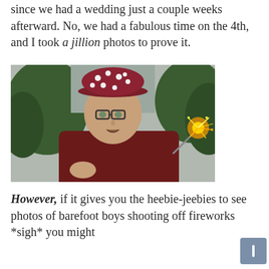since we had a wedding just a couple weeks afterward. No, we had a fabulous time on the 4th, and I took a jillion photos to prove it.
[Figure (photo): A teenage boy wearing a red and white polka-dot cap and red shirt, holding a lit sparkler. He has glasses and an open mouth expression. Background is blurred green trees and overcast sky.]
However, if it gives you the heebie-jeebies to see photos of barefoot boys shooting off fireworks *sigh* you might